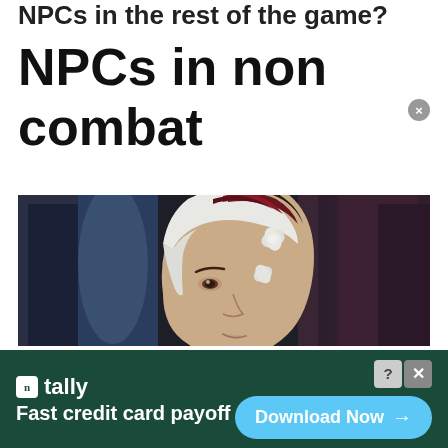NPCs in the rest of the game?
NPCs in non combat
[Figure (photo): A woman in profile view wearing a white headscarf with dark red/maroon fabric and black feather decoration, appears to be at a LARP or historical reenactment event, with costumed people in background]
n tally Fast credit card payoff  Download Now →